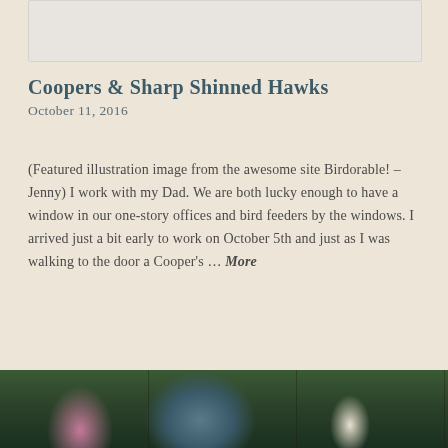[Figure (photo): Partial view of an illustration or photo at the top of the page, appearing as a light gray rectangular area]
Coopers & Sharp Shinned Hawks
October 11, 2016
(Featured illustration image from the awesome site Birdorable! – Jenny) I work with my Dad. We are both lucky enough to have a window in our one-story offices and bird feeders by the windows. I arrived just a bit early to work on October 5th and just as I was walking to the door a Cooper's … More
[Figure (other): Icon bar with speech bubble and link icons on a light tan background]
[Figure (photo): Partial photograph at the bottom showing wildflowers and foliage with pink flowers and blue-toned plants against green background, divided into panels]